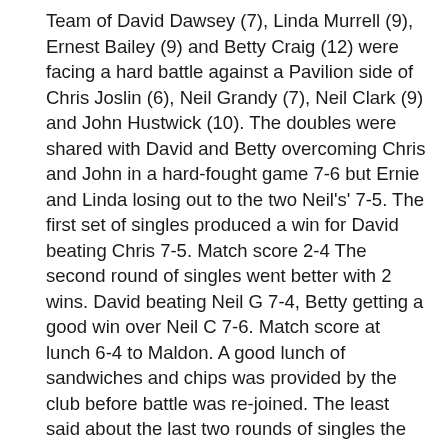Team of David Dawsey (7), Linda Murrell (9), Ernest Bailey (9) and Betty Craig (12) were facing a hard battle against a Pavilion side of Chris Joslin (6), Neil Grandy (7), Neil Clark (9) and John Hustwick (10). The doubles were shared with David and Betty overcoming Chris and John in a hard-fought game 7-6 but Ernie and Linda losing out to the two Neil's' 7-5. The first set of singles produced a win for David beating Chris 7-5. Match score 2-4 The second round of singles went better with 2 wins. David beating Neil G 7-4, Betty getting a good win over Neil C 7-6. Match score at lunch 6-4 to Maldon. A good lunch of sandwiches and chips was provided by the club before battle was re-joined. The least said about the last two rounds of singles the better with all 8 going to Maldon. The only good bit was Betty taking Neil G to the 13th hoop. Final match score 14-4 to Maldon Pavilion. Hoop Difference: Maldon 119 Chelmsford Green 81 Highlights: None. All in all a very pleasant day for the Greens played in good spirits by both teams, shame about the score. DD